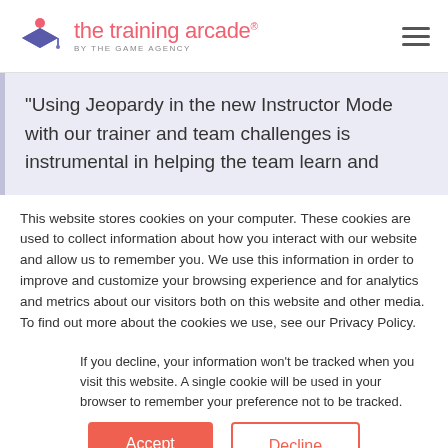[Figure (logo): The Training Arcade logo by The Game Agency with stylized graduation cap icon and pink text]
"Using Jeopardy in the new Instructor Mode with our trainer and team challenges is instrumental in helping the team learn and
This website stores cookies on your computer. These cookies are used to collect information about how you interact with our website and allow us to remember you. We use this information in order to improve and customize your browsing experience and for analytics and metrics about our visitors both on this website and other media. To find out more about the cookies we use, see our Privacy Policy.
If you decline, your information won't be tracked when you visit this website. A single cookie will be used in your browser to remember your preference not to be tracked.
Accept
Decline